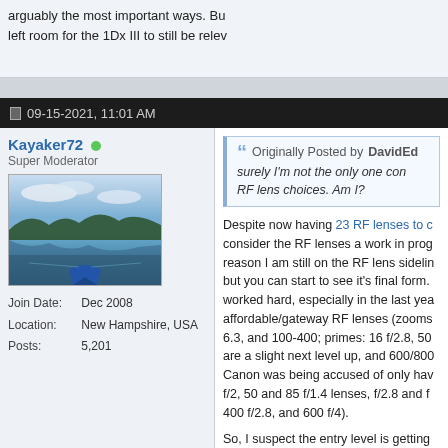arguably the most important ways. Bu left room for the 1Dx III to still be relev
09-15-2021, 11:01 AM
Kayaker72
Super Moderator
[Figure (photo): Avatar photo of a kayak on a calm lake with reflections of trees and sky]
Join Date: Dec 2008
Location: New Hampshire, USA
Posts: 5,201
Originally Posted by DavidEc
surely I'm not the only one con RF lens choices. Am I?
Despite now having 23 RF lenses to c consider the RF lenses a work in prog reason I am still on the RF lens sidelin but you can start to see it's final form. worked hard, especially in the last yea affordable/gateway RF lenses (zooms 6.3, and 100-400; primes: 16 f/2.8, 50 are a slight next level up, and 600/800 Canon was being accused of only hav f/2, 50 and 85 f/1.4 lenses, f/2.8 and f 400 f/2.8, and 600 f/4).
So, I suspect the entry level is getting more), but hopefully there are about 1 such as a 14/24/35/135/200/300/500/ creative zooms.